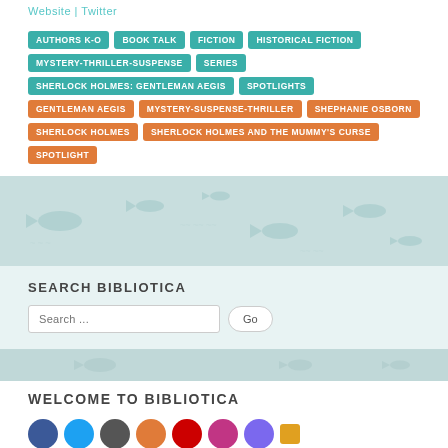Website | Twitter
AUTHORS K-O
BOOK TALK
FICTION
HISTORICAL FICTION
MYSTERY-THRILLER-SUSPENSE
SERIES
SHERLOCK HOLMES: GENTLEMAN AEGIS
SPOTLIGHTS
GENTLEMAN AEGIS
MYSTERY-SUSPENSE-THRILLER
SHEPHANIE OSBORN
SHERLOCK HOLMES
SHERLOCK HOLMES AND THE MUMMY'S CURSE
SPOTLIGHT
[Figure (illustration): Decorative fish/sea life silhouettes on teal-green background band]
SEARCH BIBLIOTICA
Search ...
[Figure (illustration): Decorative teal lower band]
WELCOME TO BIBLIOTICA
[Figure (illustration): Row of social media icon circles in various colors]